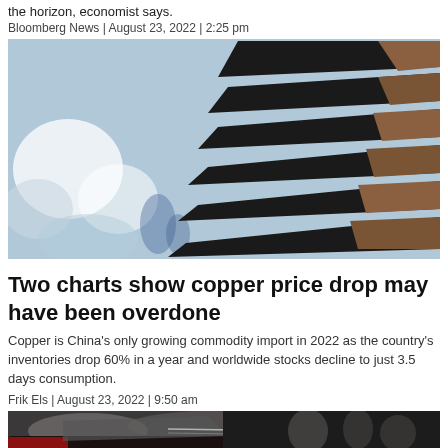the horizon, economist says.
Bloomberg News | August 23, 2022 | 2:25 pm
[Figure (photo): Close-up photo of metal copper cathode plates stacked diagonally, showing rough copper-colored surfaces against a blurred blue-grey background with white blurred bokeh shapes.]
Two charts show copper price drop may have been overdone
Copper is China's only growing commodity import in 2022 as the country's inventories drop 60% in a year and worldwide stocks decline to just 3.5 days consumption.
Frik Els | August 23, 2022 | 9:50 am
[Figure (photo): Partial photo of a car interior/exterior at what appears to be an auto show, showing dark vehicle body and glass with blurred people in the background.]